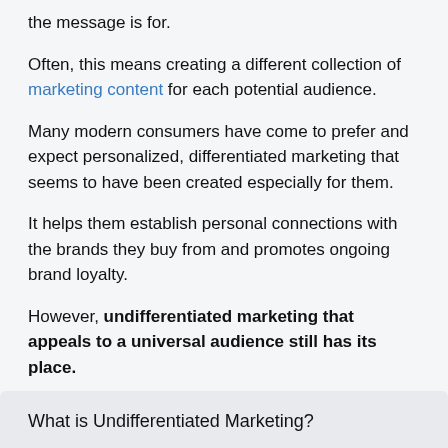the message is for.
Often, this means creating a different collection of marketing content for each potential audience.
Many modern consumers have come to prefer and expect personalized, differentiated marketing that seems to have been created especially for them.
It helps them establish personal connections with the brands they buy from and promotes ongoing brand loyalty.
However, undifferentiated marketing that appeals to a universal audience still has its place.
The question here is: is it right for you and your company? Keep reading to find out.
What is Undifferentiated Marketing?